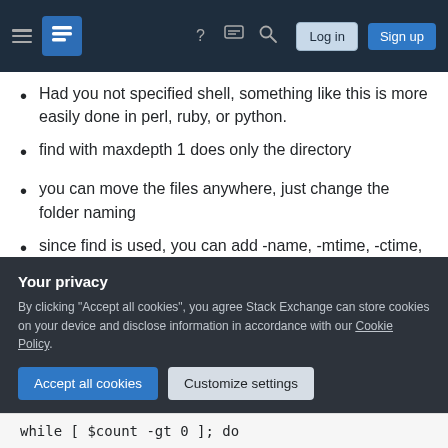Stack Exchange navigation bar with hamburger menu, logo, help, chat, search icons, Log in and Sign up buttons
Had you not specified shell, something like this is more easily done in perl, ruby, or python.
find with maxdepth 1 does only the directory
you can move the files anywhere, just change the folder naming
since find is used, you can add -name, -mtime, -ctime, etc.
Copysome.sh,
Your privacy
By clicking "Accept all cookies", you agree Stack Exchange can store cookies on your device and disclose information in accordance with our Cookie Policy.
Accept all cookies  Customize settings
while [ $count -gt 0 ]; do